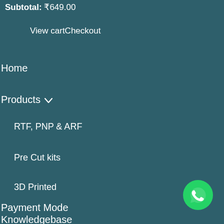Subtotal: ₹649.00
View cartCheckout
Home
Products ∨
RTF, PNP & ARF
Pre Cut kits
3D Printed
Payment Mode
Knowledgebase
[Figure (other): WhatsApp floating action button (green circle with white phone/chat icon)]